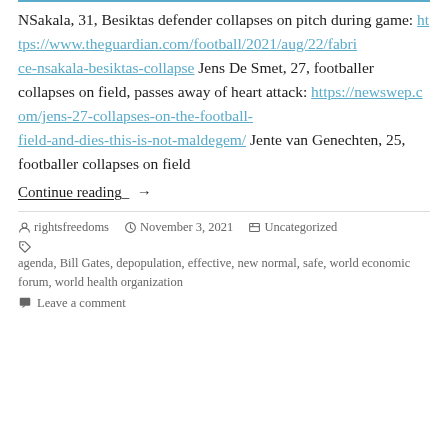NSakala, 31, Besiktas defender collapses on pitch during game: https://www.theguardian.com/football/2021/aug/22/fabrice-nsakala-besiktas-collapse Jens De Smet, 27, footballer collapses on field, passes away of heart attack: https://newswep.com/jens-27-collapses-on-the-football-field-and-dies-this-is-not-maldegem/ Jente van Genechten, 25, footballer collapses on field
Continue reading →
rightsfreedoms  November 3, 2021  Uncategorized
agenda, Bill Gates, depopulation, effective, new normal, safe, world economic forum, world health organization
Leave a comment